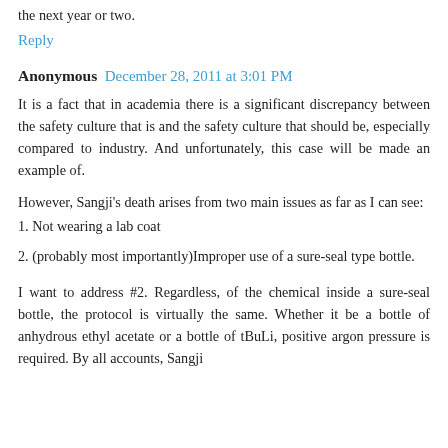the next year or two.
Reply
Anonymous  December 28, 2011 at 3:01 PM
It is a fact that in academia there is a significant discrepancy between the safety culture that is and the safety culture that should be, especially compared to industry. And unfortunately, this case will be made an example of.
However, Sangji's death arises from two main issues as far as I can see:
1. Not wearing a lab coat
2. (probably most importantly)Improper use of a sure-seal type bottle.
I want to address #2. Regardless, of the chemical inside a sure-seal bottle, the protocol is virtually the same. Whether it be a bottle of anhydrous ethyl acetate or a bottle of tBuLi, positive argon pressure is required. By all accounts, Sangji